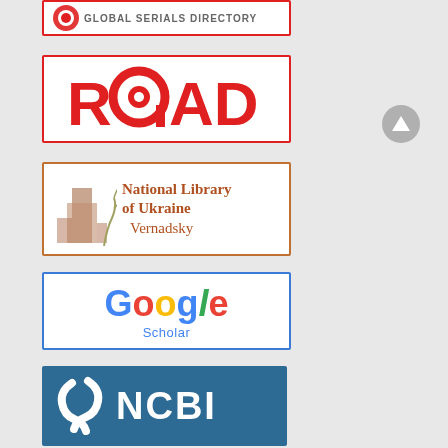[Figure (logo): Global Serials Directory logo with red circle icon, partially cropped at top]
[Figure (logo): ROAD (Directory of Open Access scholarly Resources) logo in red with open-access lock symbol replacing the O]
[Figure (logo): National Library of Ukraine Vernadsky logo with brown text and building silhouette]
[Figure (logo): Google Scholar logo with multicolor Google text and Scholar subtitle in blue]
[Figure (logo): NCBI (National Center for Biotechnology Information) logo with white snake/helix icon on dark blue background]